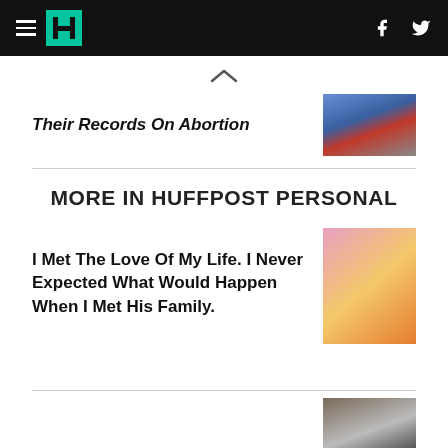HuffPost navigation bar with logo, hamburger menu, Facebook and Twitter icons
Their Records On Abortion
MORE IN HUFFPOST PERSONAL
I Met The Love Of My Life. I Never Expected What Would Happen When I Met His Family.
[Figure (photo): Person in suit, partial image of face]
[Figure (photo): Person holding pink and orange lilies near face]
[Figure (photo): Partial image of people near record collection]